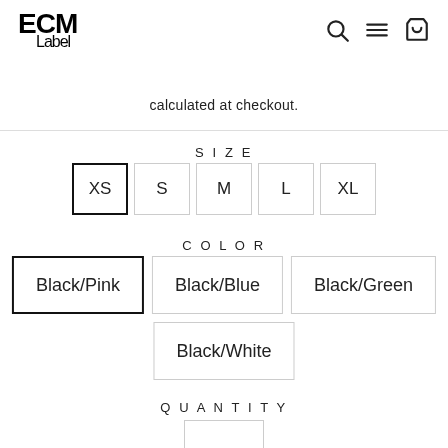[Figure (logo): ECM Label logo — bold ECM text with cursive 'Label' script beneath]
calculated at checkout.
SIZE
XS  S  M  L  XL (size selector buttons, XS selected)
COLOR
Black/Pink  Black/Blue  Black/Green  Black/White (color selector buttons, Black/Pink selected)
QUANTITY